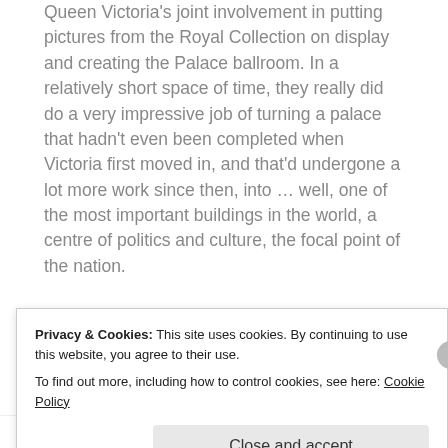Queen Victoria's joint involvement in putting pictures from the Royal Collection on display and creating the Palace ballroom.  In a relatively short space of time, they really did do a very impressive job of turning a palace that hadn't even been completed when Victoria first moved in, and that'd undergone a lot more work since then, into … well, one of the most important buildings in the world, a centre of politics and culture, the focal point of the nation.
As with the recent BBC 1 programme about
Privacy & Cookies: This site uses cookies. By continuing to use this website, you agree to their use.
To find out more, including how to control cookies, see here: Cookie Policy